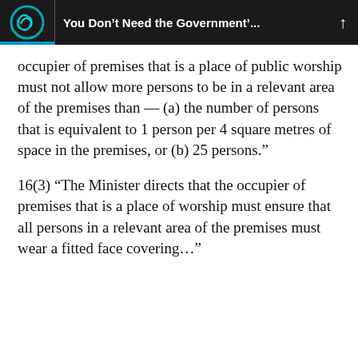You Don't Need the Government'...
occupier of premises that is a place of public worship must not allow more persons to be in a relevant area of the premises than — (a) the number of persons that is equivalent to 1 person per 4 square metres of space in the premises, or (b) 25 persons."
16(3) “The Minister directs that the occupier of premises that is a place of worship must ensure that all persons in a relevant area of the premises must wear a fitted face covering...”